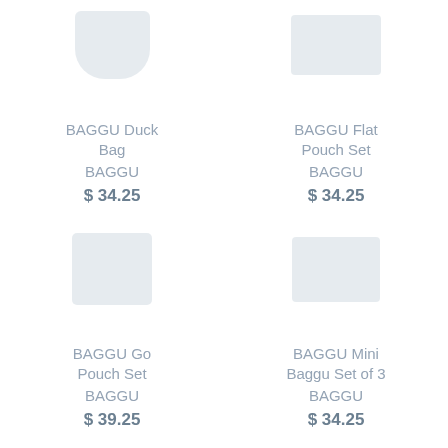[Figure (photo): Product image placeholder for BAGGU Duck Bag]
BAGGU Duck Bag
BAGGU
$ 34.25
[Figure (photo): Product image placeholder for BAGGU Flat Pouch Set]
BAGGU Flat Pouch Set
BAGGU
$ 34.25
[Figure (photo): Product image placeholder for BAGGU Go Pouch Set]
BAGGU Go Pouch Set
BAGGU
$ 39.25
[Figure (photo): Product image placeholder for BAGGU Mini Baggu Set of 3]
BAGGU Mini Baggu Set of 3
BAGGU
$ 34.25